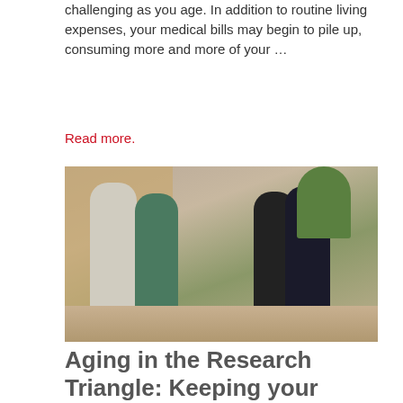challenging as you age. In addition to routine living expenses, your medical bills may begin to pile up, consuming more and more of your …
Read more.
[Figure (photo): Four elderly adults standing and conversing outside a building on a sidewalk, with trees visible in the background.]
Aging in the Research Triangle: Keeping your brain healthy